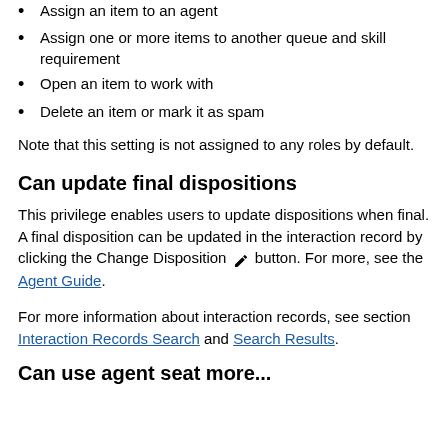Assign an item to an agent
Assign one or more items to another queue and skill requirement
Open an item to work with
Delete an item or mark it as spam
Note that this setting is not assigned to any roles by default.
Can update final dispositions
This privilege enables users to update dispositions when final. A final disposition can be updated in the interaction record by clicking the Change Disposition [pencil icon] button. For more, see the Agent Guide.
For more information about interaction records, see section Interaction Records Search and Search Results.
Can use agent seat more...